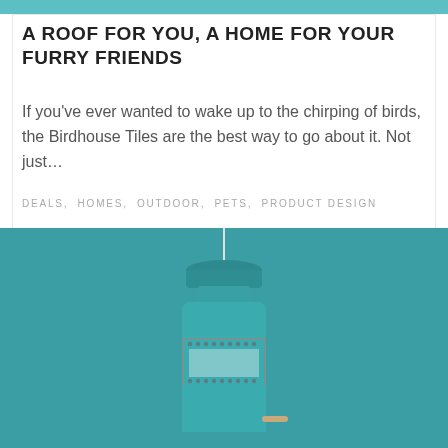A ROOF FOR YOU, A HOME FOR YOUR FURRY FRIENDS
If you've ever wanted to wake up to the chirping of birds, the Birdhouse Tiles are the best way to go about it. Not just...
DEALS, HOMES, OUTDOOR, PETS, PRODUCT DESIGN
[Figure (photo): A teal/turquoise birdhouse tile product shown against a matching teal background. The birdhouse is bottle-shaped with a decorative perforated metal band around the middle and a small perch stick.]